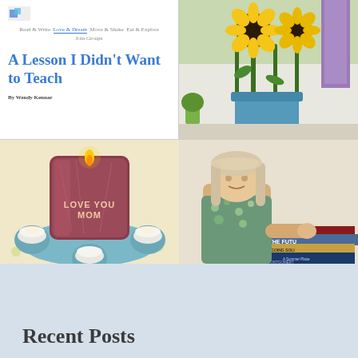[Figure (screenshot): Blog website screenshot showing navigation menu with 'Read & Write', 'Love & Dream', 'Move & Shake', 'Eat & Explore', 'Join Groups', and article title 'A Lesson I Didn't Want to Teach' by Wendy Kennar]
[Figure (photo): Close-up photo of yellow sunflowers in a blue vase with a purple candle in the background]
[Figure (photo): Photo of a candle in a red/orange glass jar labeled 'LOVE YOU MOM' surrounded by small tea light candles on a blue ceramic flower-shaped tray]
[Figure (photo): Photo of a soft cloth doll with blonde hair leaning against a stack of books including 'I Touch the Future', 'Cynthia Blair Going Solo', 'Cynthia Blair A Summer Place', and 'The Blue Castle / L.M. Montgomery']
Recent Posts